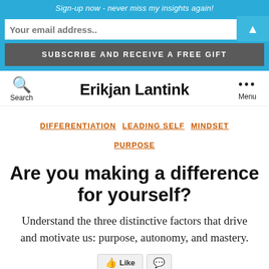Sign-up now - never miss my insights again!
Your email address..
SUBSCRIBE AND RECEIVE A FREE GIFT
Erikjan Lantink
Search
Menu
DIFFERENTIATION  LEADING SELF  MINDSET  PURPOSE
Are you making a difference for yourself?
Understand the three distinctive factors that drive and motivate us: purpose, autonomy, and mastery.
Like